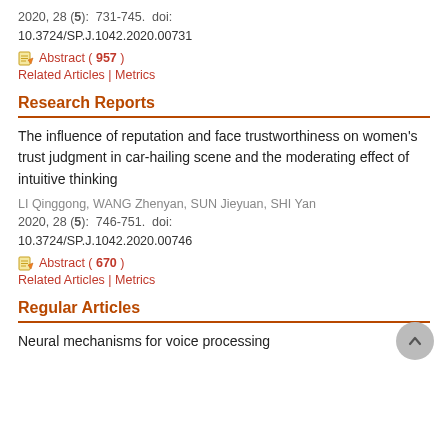2020, 28 (5):  731-745.  doi:
10.3724/SP.J.1042.2020.00731
Abstract ( 957 )
Related Articles | Metrics
Research Reports
The influence of reputation and face trustworthiness on women’s trust judgment in car-hailing scene and the moderating effect of intuitive thinking
LI Qinggong, WANG Zhenyan, SUN Jieyuan, SHI Yan
2020, 28 (5):  746-751.  doi:
10.3724/SP.J.1042.2020.00746
Abstract ( 670 )
Related Articles | Metrics
Regular Articles
Neural mechanisms for voice processing